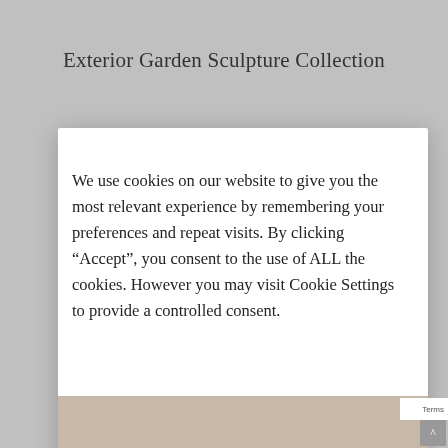Exterior Garden Sculpture Collection
We use cookies on our website to give you the most relevant experience by remembering your preferences and repeat visits. By clicking “Accept”, you consent to the use of ALL the cookies. However you may visit Cookie Settings to provide a controlled consent.
[Figure (screenshot): Cookie consent modal with three buttons: ACCEPT (dark gray), REJECT (teal), SETTINGS (white/outlined). Background shows a garden sculpture website.]